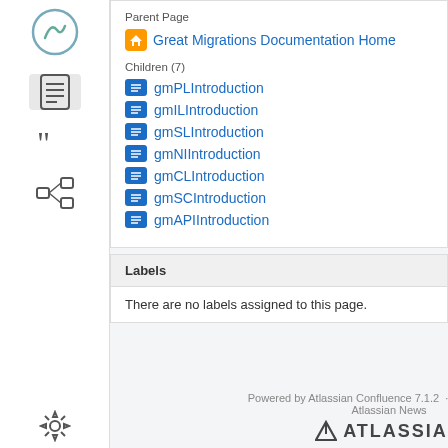[Figure (screenshot): Sidebar with navigation icons: circular logo icon, document icon (active/highlighted), quote icon, tree/hierarchy icon, settings gear icon, double-arrow icon]
Parent Page
Great Migrations Documentation Home
Children (7)
gmPLIntroduction
gmILIntroduction
gmSLIntroduction
gmNIIntroduction
gmCLIntroduction
gmSCIntroduction
gmAPIIntroduction
Labels
There are no labels assigned to this page.
Powered by Atlassian Confluence 7.1.2 · Report a bug · Atlassian News
[Figure (logo): Atlassian logo with triangle icon and ATLASSIAN text]